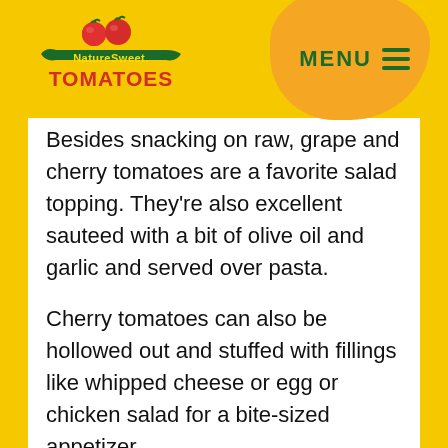NatureSweet Tomatoes — MENU
Besides snacking on raw, grape and cherry tomatoes are a favorite salad topping. They're also excellent sauteed with a bit of olive oil and garlic and served over pasta.
Cherry tomatoes can also be hollowed out and stuffed with fillings like whipped cheese or egg or chicken salad for a bite-sized appetizer.
Heirloom tomatoes
Heirloom tomatoes refer to numerous